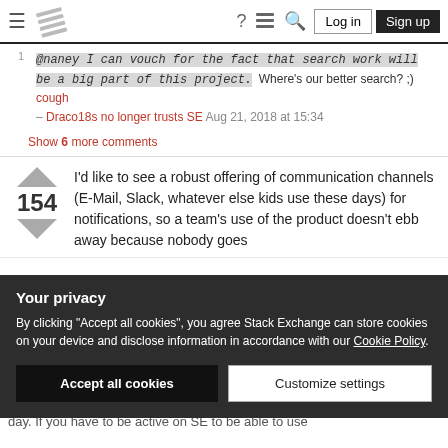Stack Exchange navigation header with hamburger menu, logo, help, chat, search icons, Log in and Sign up buttons
@naney I can vouch for the fact that search work will be a big part of this project. Where's our better search? ;) cough – Draco18s no longer trusts SE Aug 21, 2018 at 15:34
Show 6 more comments
154 — I'd like to see a robust offering of communication channels (E-Mail, Slack, whatever else kids use these days) for notifications, so a team's use of the product doesn't ebb away because nobody goes
Your privacy — By clicking "Accept all cookies", you agree Stack Exchange can store cookies on your device and disclose information in accordance with our Cookie Policy. [Accept all cookies] [Customize settings]